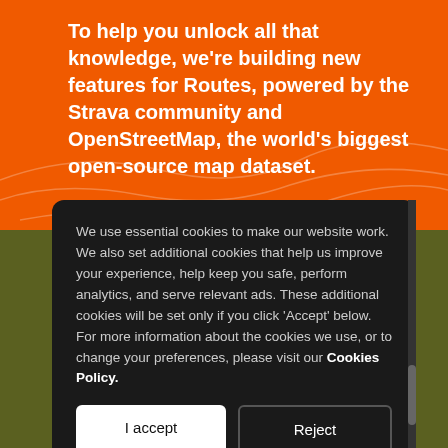[Figure (illustration): Orange background with white contour/topographic lines and bold white text about Strava Routes and OpenStreetMap]
To help you unlock all that knowledge, we're building new features for Routes, powered by the Strava community and OpenStreetMap, the world's biggest open-source map dataset.
We use essential cookies to make our website work. We also set additional cookies that help us improve your experience, help keep you safe, perform analytics, and serve relevant ads. These additional cookies will be set only if you click 'Accept' below. For more information about the cookies we use, or to change your preferences, please visit our Cookies Policy.